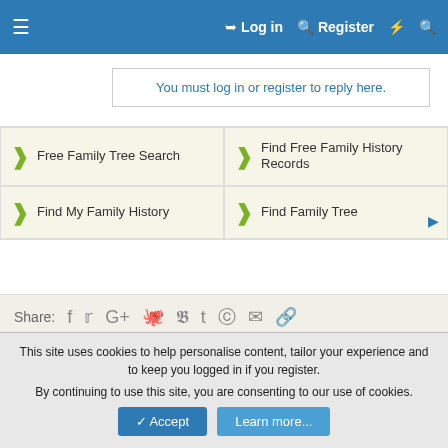≡   Log in   Register   ⚡   🔍
You must log in or register to reply here.
[Figure (infographic): Ad grid with four cells: Free Family Tree Search, Find Free Family History Records, Find My Family History, Find Family Tree]
Share: f  🐦  G+  reddit  P  t  WhatsApp  ✉  🔗
Similar threads
MARTIN & PETERS
Started by DaveHam9 · 10 July 2022 · Replies: 30
Australia & New Zealand Genealogy Roots
This site uses cookies to help personalise content, tailor your experience and to keep you logged in if you register.
By continuing to use this site, you are consenting to our use of cookies.